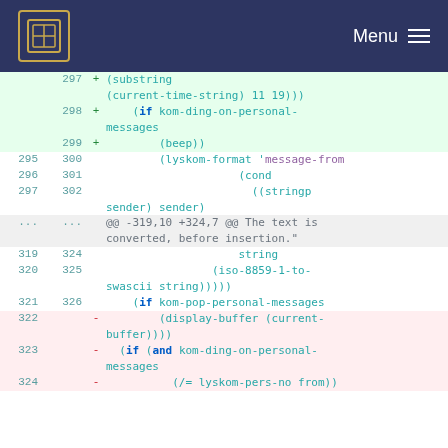Menu
[Figure (screenshot): Code diff view showing changes to a Lisp/Emacs Lisp file, lines 297-324, with added lines (green), neutral lines (white), removed lines (red), and hunk headers.]